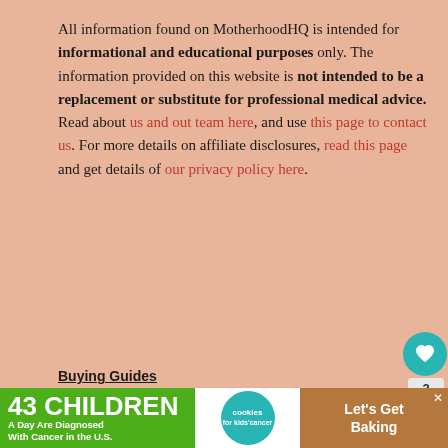All information found on MotherhoodHQ is intended for informational and educational purposes only. The information provided on this website is not intended to be a replacement or substitute for professional medical advice. Read about us and out team here, and use this page to contact us. For more details on affiliate disclosures, read this page and get details of our privacy policy here.
Buying Guides
Baby Lounger Buying Guide
Baby Gates Buying Guide
Bassinets Buying Guide
Stroller Buying Guide
[Figure (infographic): Ad banner: '43 CHILDREN A Day Are Diagnosed With Cancer in the U.S.' with cookies for kids cancer and Let's Get Baking branding]